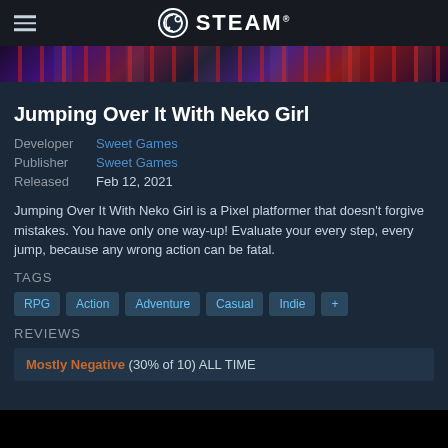STEAM
[Figure (photo): Colorful banner strip with game artwork thumbnails, dark purple and red tones]
Jumping Over It With Neko Girl
Developer Sweet Games
Publisher Sweet Games
Released Feb 12, 2021
Jumping Over It With Neko Girl is a Pixel platformer that doesn't forgive mistakes. You have only one way-up! Evaluate your every step, every jump, because any wrong action can be fatal.
TAGS
RPG
Action
Adventure
Casual
Indie
REVIEWS
Mostly Negative (30% of 10) ALL TIME
[Figure (photo): Dark black image at bottom of page, partial game screenshot]